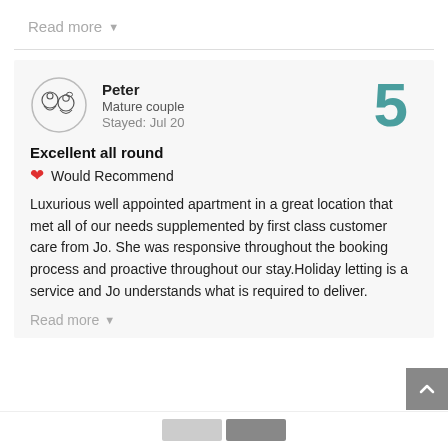Read more ▾
Peter
Mature couple
Stayed: Jul 20
5
Excellent all round
❤ Would Recommend
Luxurious well appointed apartment in a great location that met all of our needs supplemented by first class customer care from Jo. She was responsive throughout the booking process and proactive throughout our stay.Holiday letting is a service and Jo understands what is required to deliver.
Read more ▾